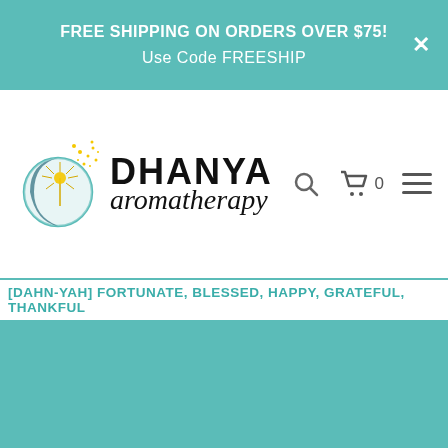FREE SHIPPING ON ORDERS OVER $75!
Use Code FREESHIP
[Figure (logo): Dhanya Aromatherapy logo featuring a dandelion seed with a moon shape, yellow sparkles, and the brand name 'DHANYA aromatherapy' in bold uppercase and italic script]
[DAHN-YAH] FORTUNATE, BLESSED, HAPPY, GRATEFUL, THANKFUL